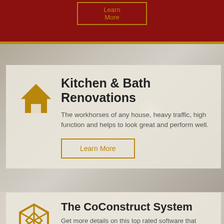[Figure (screenshot): Dark red header bar with a gold-bordered button at top center, gold horizontal dividing line]
[Figure (photo): Background photo of a room interior with ceiling light, gray-beige tones]
Kitchen & Bath Renovations
The workhorses of any house, heavy traffic, high function and helps to look great and perform well.
Learn More
The CoConstruct System
Get more details on this top rated software that